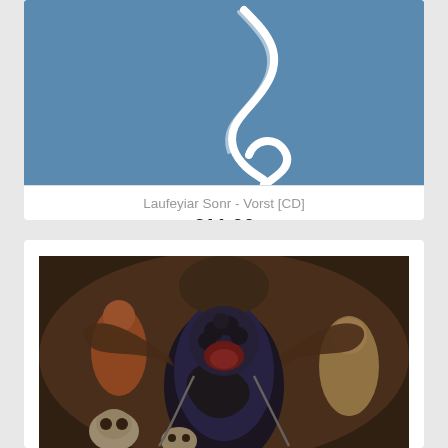[Figure (photo): Album cover with blue background and white swirl/snake design, partially visible (top portion cut off)]
Laufeyiar Sonr - Vorst [CD]
€11.00
[Figure (photo): Album cover artwork depicting dark fantasy/religious scene with demonic figures, skulls, and chaotic imagery in painterly style]